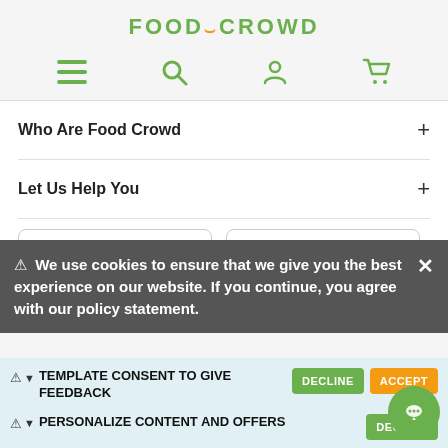[Figure (logo): FOOD_CROWD logo with green text and orange underscore accent]
[Figure (screenshot): Navigation bar with green hamburger menu, search, account, and cart icons]
Who Are Food Crowd +
Let Us Help You +
[Figure (screenshot): Partially visible app download buttons (Google Play and App Store)]
⚠ We use cookies to ensure that we give you the best experience on our website. If you continue, you agree with our policy statement.
⚠ ▼ TEMPLATE CONSENT TO GIVE FEEDBACK DECLINE ACCEPT
⚠ ▼ PERSONALIZE CONTENT AND OFFERS DECLINE ACCEPT